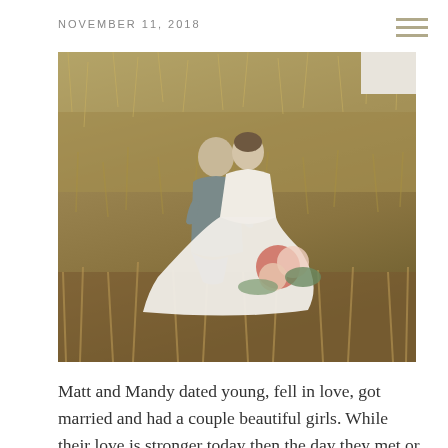NOVEMBER 11, 2018
[Figure (photo): A bride and groom sitting in a dry grass field, kissing/nuzzling. The bride wears a white lace dress and holds a floral bouquet with red and white flowers and greenery. The groom wears a gray suit. They are seated on the ground surrounded by golden-brown grass.]
Matt and Mandy dated young, fell in love, got married and had a couple beautiful girls. While their love is stronger today then the day they met or even the day they wed, it was time to take a moment to focus on just the two of them once